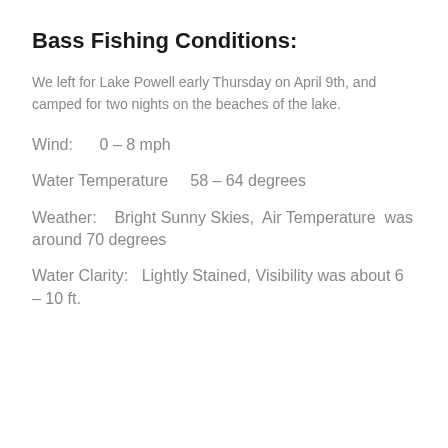Bass Fishing Conditions:
We left for Lake Powell early Thursday on April 9th, and camped for two nights on the beaches of the lake.
Wind:      0 – 8 mph
Water Temperature     58 – 64 degrees
Weather:    Bright Sunny Skies,  Air Temperature  was around 70 degrees
Water Clarity:   Lightly Stained, Visibility was about 6 – 10 ft.